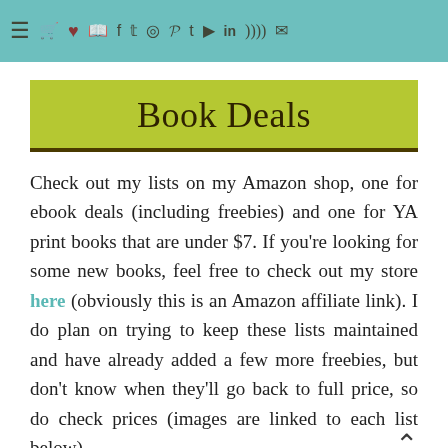Navigation bar with menu and social icons
Book Deals
Check out my lists on my Amazon shop, one for ebook deals (including freebies) and one for YA print books that are under $7. If you're looking for some new books, feel free to check out my store here (obviously this is an Amazon affiliate link). I do plan on trying to keep these lists maintained and have already added a few more freebies, but don't know when they'll go back to full price, so do check prices (images are linked to each list below).
[Figure (illustration): Row of five book cover thumbnails at the bottom of the page]